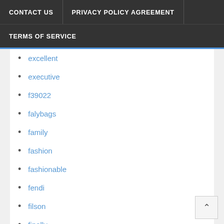CONTACT US
PRIVACY POLICY AGREEMENT
TERMS OF SERVICE
excellent
executive
f39022
falybags
family
fashion
fashionable
fendi
filson
finally
find
fjall
fjallraven
floto